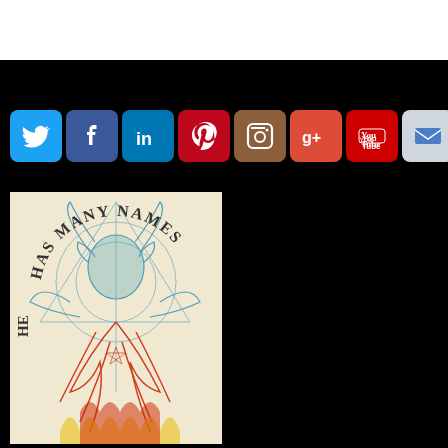[Figure (screenshot): Row of social media icon buttons: Twitter (blue bird), Facebook (blue f), LinkedIn (blue in), Pinterest (red P), Instagram (brown camera), Google+ (red g+), YouTube (red), Email (grey envelope)]
[Figure (illustration): Illustrated poster with text arc 'HAS MANY NAMES' and a demonic/occult goat figure in blue, red, and yellow colors on a cream background]